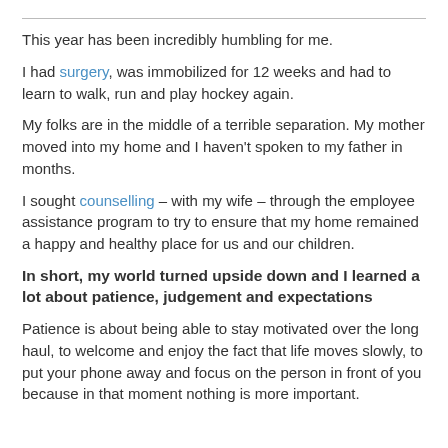This year has been incredibly humbling for me.
I had surgery, was immobilized for 12 weeks and had to learn to walk, run and play hockey again.
My folks are in the middle of a terrible separation. My mother moved into my home and I haven't spoken to my father in months.
I sought counselling – with my wife – through the employee assistance program to try to ensure that my home remained a happy and healthy place for us and our children.
In short, my world turned upside down and I learned a lot about patience, judgement and expectations
Patience is about being able to stay motivated over the long haul, to welcome and enjoy the fact that life moves slowly, to put your phone away and focus on the person in front of you because in that moment nothing is more important.